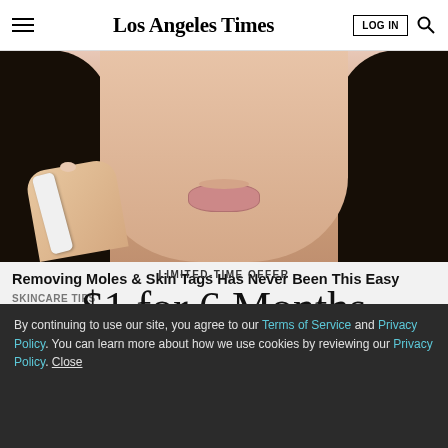Los Angeles Times
[Figure (photo): Close-up photo of a person's face (lower half showing lips) and hand holding a white device, warm background tones]
Removing Moles & Skin Tags Has Never Been This Easy
SKINCARE TIPS
LIMITED-TIME OFFER
$1 for 6 Months
SUBSCRIBE NOW
By continuing to use our site, you agree to our Terms of Service and Privacy Policy. You can learn more about how we use cookies by reviewing our Privacy Policy. Close